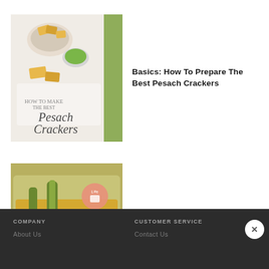[Figure (photo): Food photo showing Pesach crackers with a bowl of sauce and crackers on a marble surface, with script text 'Pesach Crackers']
Basics: How To Prepare The Best Pesach Crackers
[Figure (photo): Food photo showing a complete Shabbos meal in a foil roasting pan with chicken, carrots, and leeks in broth, with a small circular logo overlay]
How To Cook A Complete Shabbos Meal In The Oven
COMPANY   About Us     CUSTOMER SERVICE   Contact Us